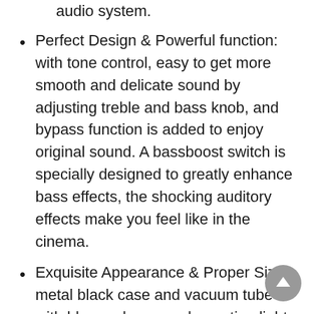audio system.
Perfect Design & Powerful function: with tone control, easy to get more smooth and delicate sound by adjusting treble and bass knob, and bypass function is added to enjoy original sound. A bassboost switch is specially designed to greatly enhance bass effects, the shocking auditory effects make you feel like in the cinema.
Exquisite Appearance & Proper Size: metal black case and vacuum tube with blue and orange decorating light looks fashionable and attractive, designed input switch / bass and tone pass & bypass switch, very convenient to use and suitable for stereo home and desktop audio system.